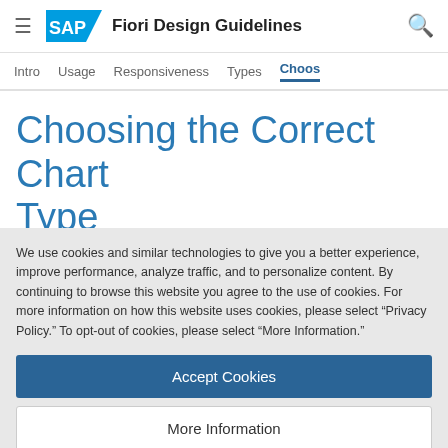SAP Fiori Design Guidelines
Intro | Usage | Responsiveness | Types | Choosing the Correct Chart Type
Choosing the Correct Chart Type
Charts are used to visually represent the relationships
We use cookies and similar technologies to give you a better experience, improve performance, analyze traffic, and to personalize content. By continuing to browse this website you agree to the use of cookies. For more information on how this website uses cookies, please select “Privacy Policy.” To opt-out of cookies, please select “More Information.”
Accept Cookies
More Information
Privacy Policy | Powered by: TrustArc